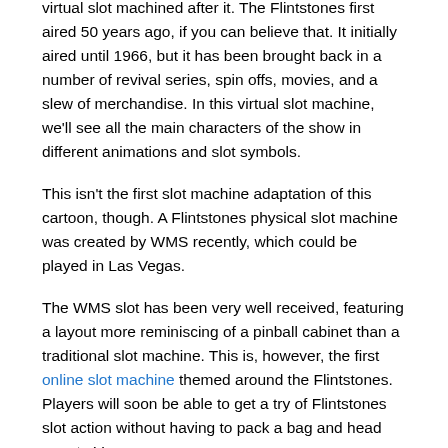virtual slot machined after it. The Flintstones first aired 50 years ago, if you can believe that. It initially aired until 1966, but it has been brought back in a number of revival series, spin offs, movies, and a slew of merchandise. In this virtual slot machine, we'll see all the main characters of the show in different animations and slot symbols.
This isn't the first slot machine adaptation of this cartoon, though. A Flintstones physical slot machine was created by WMS recently, which could be played in Las Vegas.
The WMS slot has been very well received, featuring a layout more reminiscing of a pinball cabinet than a traditional slot machine. This is, however, the first online slot machine themed around the Flintstones. Players will soon be able to get a try of Flintstones slot action without having to pack a bag and head over to Vegas.
Developer
Playtech has been developing software for online casinos for almost seventeen years now. They not only develop games, but they also have their own proprietary management software called IMS. Since they are